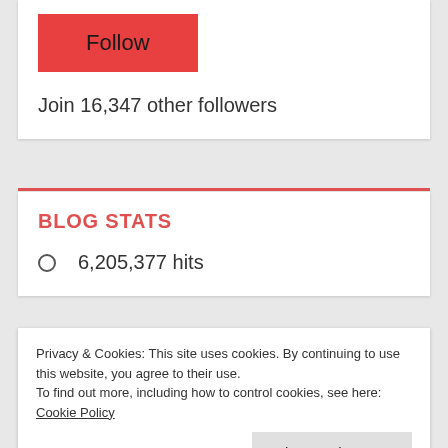Follow
Join 16,347 other followers
BLOG STATS
6,205,377 hits
Privacy & Cookies: This site uses cookies. By continuing to use this website, you agree to their use.
To find out more, including how to control cookies, see here: Cookie Policy